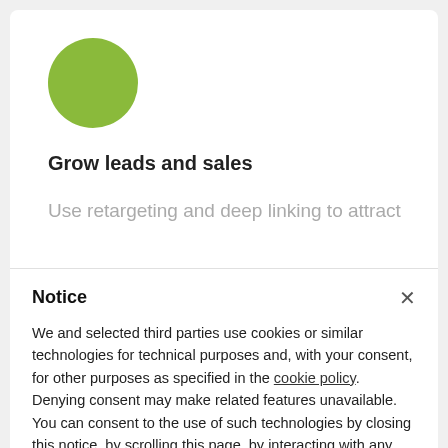[Figure (illustration): Green circle icon representing a feature or category]
Grow leads and sales
Use retargeting and deep linking to attract
Notice
We and selected third parties use cookies or similar technologies for technical purposes and, with your consent, for other purposes as specified in the cookie policy. Denying consent may make related features unavailable.
You can consent to the use of such technologies by closing this notice, by scrolling this page, by interacting with any link or button outside of this notice or by continuing to browse otherwise.